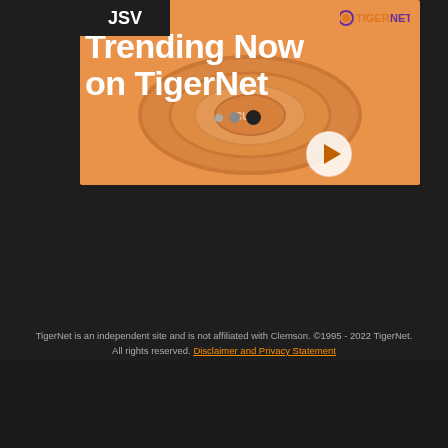[Figure (screenshot): TigerNet website screenshot showing a video banner with 'Trending Now on TigerNet' text, a championship ring visual, play button, navigation bar with News, Boards, Upgrade, Full Site links, and footer copyright text.]
News | Boards | Upgrade | Full Site
TigerNet is an independent site and is not affiliated with Clemson. ©1995 - 2022 TigerNet. All rights reserved. Disclaimer and Privacy Statement